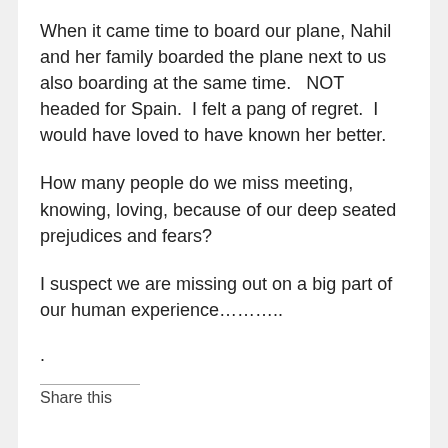When it came time to board our plane, Nahil and her family boarded the plane next to us also boarding at the same time.   NOT headed for Spain.  I felt a pang of regret.  I would have loved to have known her better.
How many people do we miss meeting, knowing, loving, because of our deep seated prejudices and fears?
I suspect we are missing out on a big part of our human experience………..
.
Share this